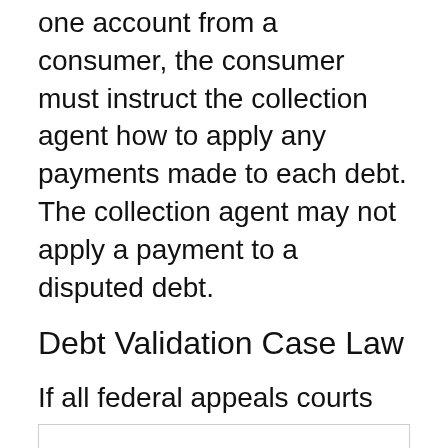one account from a consumer, the consumer must instruct the collection agent how to apply any payments made to each debt. The collection agent may not apply a payment to a disputed debt.
Debt Validation Case Law
If all federal appeals courts had been asked to interpret the debt validation law and did so consistently, we would have a fair understanding of how validation is supposed to work, what information collection agents are supposed to give consumers when validating a debt, and a uniform application of the rules.